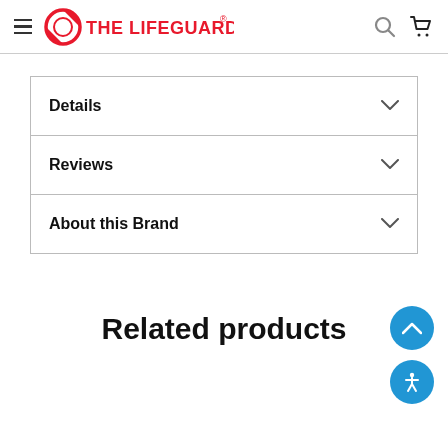THE LIFEGUARD STORE®
Details
Reviews
About this Brand
Related products